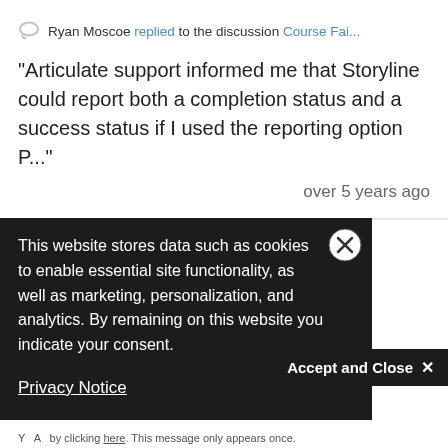Ryan Moscoe replied to the discussion Course Fai...
"Articulate support informed me that Storyline could report both a completion status and a success status if I used the reporting option P..."
over 5 years ago
This website stores data such as cookies to enable essential site functionality, as well as marketing, personalization, and analytics. By remaining on this website you indicate your consent.
Privacy Notice
Accept and Close ✕
k on this page to allow t of this AdRoll tracking
by clicking here. This message only appears once.